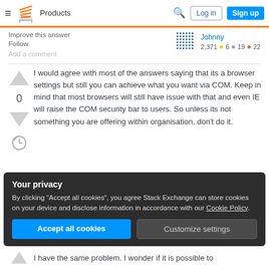≡  [Stack Overflow logo]  Products  🔍  Log in  Sign up
Improve this answer
Follow
Add a comment
Johnny  2,371 ● 6 ● 19 ● 22
I would agree with most of the answers saying that its a browser settings but still you can achieve what you want via COM. Keep in mind that most browsers will still have issue with that and even IE will raise the COM security bar to users. So unless its not something you are offering within organisation, don't do it.
Your privacy
By clicking "Accept all cookies", you agree Stack Exchange can store cookies on your device and disclose information in accordance with our Cookie Policy.
Accept all cookies   Customize settings
I have the same problem. I wonder if it is possible to